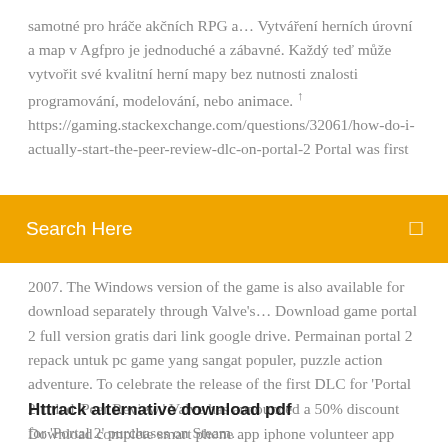samotné pro hráče akčních RPG a… Vytváření herních úrovní a map v Agfpro je jednoduché a zábavné. Každý teď může vytvořit své kvalitní herní mapy bez nutnosti znalosti programování, modelování, nebo animace. ↑ https://gaming.stackexchange.com/questions/32061/how-do-i-actually-start-the-peer-review-dlc-on-portal-2 Portal was first
Search Here
2007. The Windows version of the game is also available for download separately through Valve's… Download game portal 2 full version gratis dari link google drive. Permainan portal 2 repack untuk pc game yang sangat populer, puzzle action adventure. To celebrate the release of the first DLC for 'Portal 2' titled 'Peer Review,' Valve has announced a 50% discount for 'Portal 2' purchases on Steam.
Httrack alternative download pdf
Download complete smart phone app iphone volunteer app